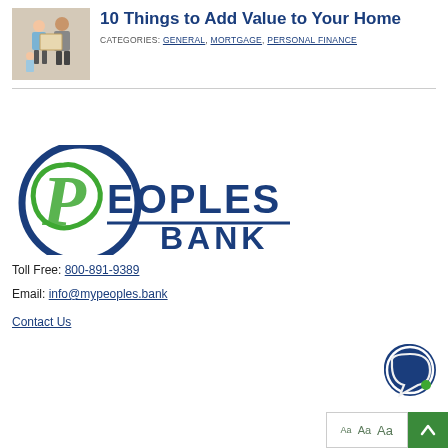[Figure (photo): Family holding moving boxes]
10 Things to Add Value to Your Home
CATEGORIES: GENERAL, MORTGAGE, PERSONAL FINANCE
[Figure (logo): Peoples Bank logo with green circle P and blue PEOPLES BANK text]
Toll Free: 800-891-9389
Email: info@mypeoples.bank
Contact Us